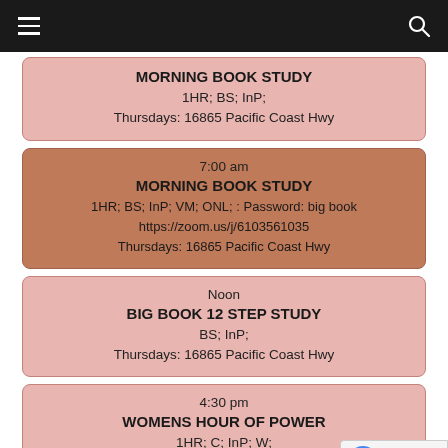☰ [navigation] 🔍 [search]
MORNING BOOK STUDY | 1HR; BS; InP; | Thursdays: 16865 Pacific Coast Hwy
7:00 am | MORNING BOOK STUDY | 1HR; BS; InP; VM; ONL; : Password: big book | https://zoom.us/j/6103561035 | Thursdays: 16865 Pacific Coast Hwy
Noon | BIG BOOK 12 STEP STUDY | BS; InP; | Thursdays: 16865 Pacific Coast Hwy
4:30 pm | WOMENS HOUR OF POWER | 1HR; C; InP; W; | Thursdays: 16865 Pacific Coast Hwy